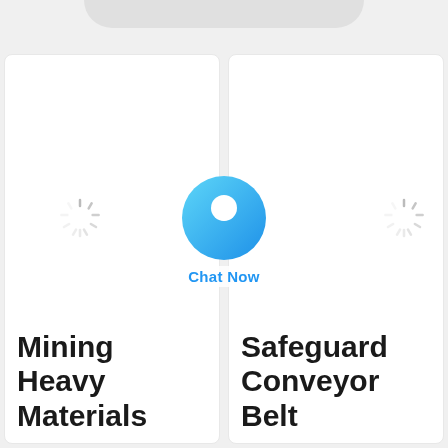[Figure (screenshot): Top rounded gray pill/bar at the top center of the page, partial UI element]
[Figure (screenshot): Two white card panels side by side showing product categories: left card with loading spinner and 'Mining Heavy Materials' title, right card with loading spinner and 'Safeguard Conveyor Belt' title. A 'Chat Now' button with blue circle icon is centered overlapping the two cards.]
Mining Heavy Materials
Safeguard Conveyor Belt